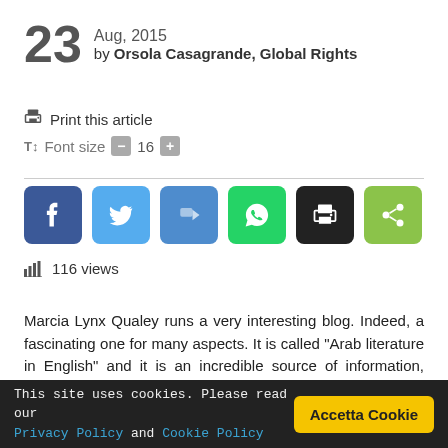23 Aug, 2015 by Orsola Casagrande, Global Rights
Print this article
Font size - 16 +
[Figure (other): Social sharing buttons: Facebook, Twitter, Google+, WhatsApp, Print, Share]
116 views
Marcia Lynx Qualey runs a very interesting blog. Indeed, a fascinating one for many aspects. It is called “Arab literature in English” and it is an incredible source of information, reviews, suggestions...and much more things. In it you can find as said reviews of books, interviews with authors, extracts, a rich agenda telling dates and places of festivals, readings, meetings with authors. It is also for authors and publishers and
This site uses cookies. Please read our Privacy Policy and Cookie Policy  Accetta Cookie